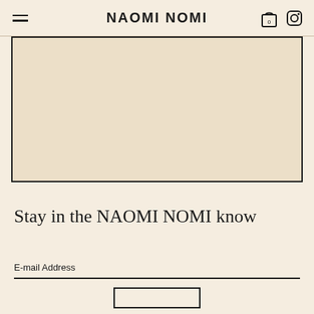NAOMI NOMI
[Figure (illustration): A large beige/cream colored rectangular placeholder image box with a dark border]
Stay in the NAOMI NOMI know
E-mail Address